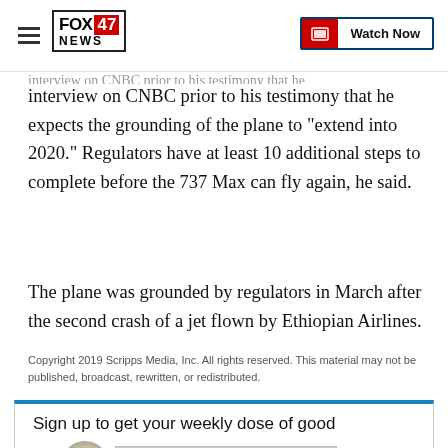FOX 47 NEWS — Watch Now
interview on CNBC prior to his testimony that he expects the grounding of the plane to "extend into 2020." Regulators have at least 10 additional steps to complete before the 737 Max can fly again, he said.
The plane was grounded by regulators in March after the second crash of a jet flown by Ethiopian Airlines.
Copyright 2019 Scripps Media, Inc. All rights reserved. This material may not be published, broadcast, rewritten, or redistributed.
Sign up to get your weekly dose of good ne... pla...